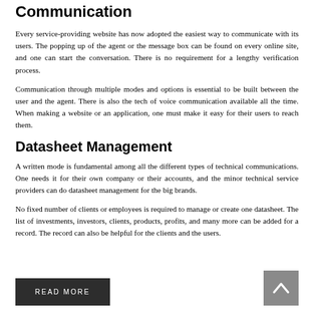Communication
Every service-providing website has now adopted the easiest way to communicate with its users. The popping up of the agent or the message box can be found on every online site, and one can start the conversation. There is no requirement for a lengthy verification process.
Communication through multiple modes and options is essential to be built between the user and the agent. There is also the tech of voice communication available all the time. When making a website or an application, one must make it easy for their users to reach them.
Datasheet Management
A written mode is fundamental among all the different types of technical communications. One needs it for their own company or their accounts, and the minor technical service providers can do datasheet management for the big brands.
No fixed number of clients or employees is required to manage or create one datasheet. The list of investments, investors, clients, products, profits, and many more can be added for a record. The record can also be helpful for the clients and the users.